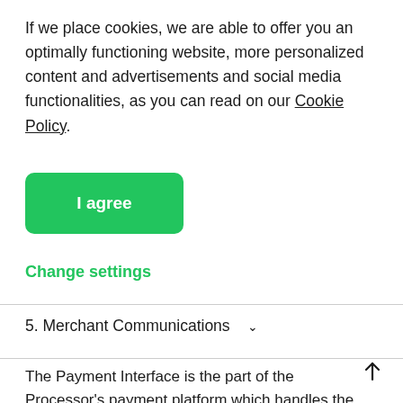If we place cookies, we are able to offer you an optimally functioning website, more personalized content and advertisements and social media functionalities, as you can read on our Cookie Policy.
[Figure (other): Green 'I agree' button]
Change settings
5. Merchant Communications
The Payment Interface is the part of the Processor's payment platform which handles the processing of Transactions on the moment the shopper initiates a